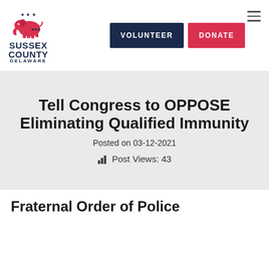[Figure (logo): Sussex County Delaware Republican Party logo with elephant graphic]
VOLUNTEER
DONATE
Tell Congress to OPPOSE Eliminating Qualified Immunity
Posted on 03-12-2021
Post Views: 43
Fraternal Order of Police